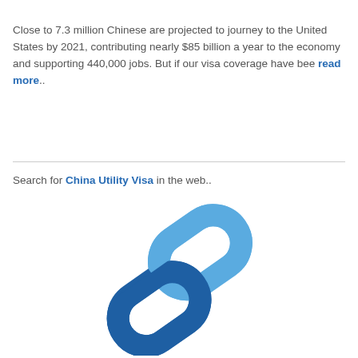Close to 7.3 million Chinese are projected to journey to the United States by 2021, contributing nearly $85 billion a year to the economy and supporting 440,000 jobs. But if our visa coverage have bee read more..
Search for China Utility Visa in the web..
[Figure (illustration): A chain link icon composed of two interlocking chain links in shades of blue (light blue and dark blue), displayed on a white background.]